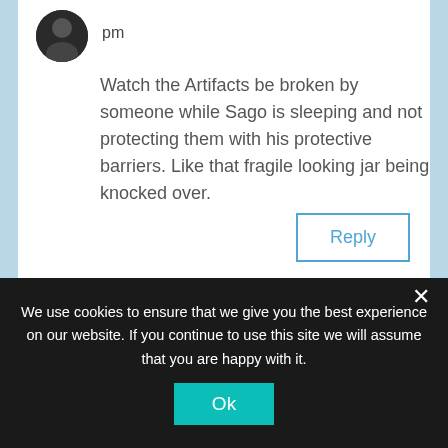pm
Watch the Artifacts be broken by someone while Sago is sleeping and not protecting them with his protective barriers. Like that fragile looking jar being knocked over.
Reply
AnyBody on October 10, 2020 at 1:01 pm
I wonder why Sago doesn't Train
We use cookies to ensure that we give you the best experience on our website. If you continue to use this site we will assume that you are happy with it.
Ok